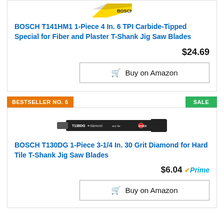[Figure (photo): Partial view of a jig saw blade at the top of the page (cropped)]
BOSCH T141HM1 1-Piece 4 In. 6 TPI Carbide-Tipped Special for Fiber and Plaster T-Shank Jig Saw Blades
$24.69
Buy on Amazon
BESTSELLER NO. 6
SALE
[Figure (photo): BOSCH T130DG jig saw blade product photo — black blade with yellow and red text markings]
BOSCH T130DG 1-Piece 3-1/4 In. 30 Grit Diamond for Hard Tile T-Shank Jig Saw Blades
$6.04 Prime
Buy on Amazon